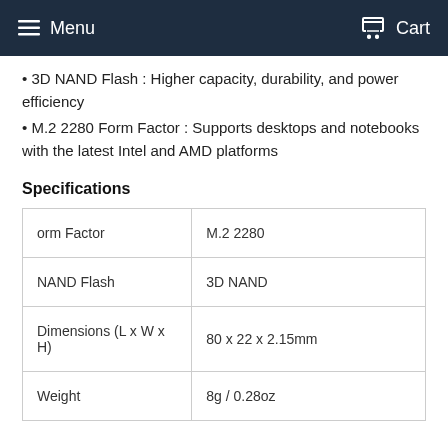Menu  Cart
3D NAND Flash : Higher capacity, durability, and power efficiency
M.2 2280 Form Factor : Supports desktops and notebooks with the latest Intel and AMD platforms
Specifications
|  |  |
| --- | --- |
| orm Factor | M.2 2280 |
| NAND Flash | 3D NAND |
| Dimensions (L x W x H) | 80 x 22 x 2.15mm |
| Weight | 8g / 0.28oz |